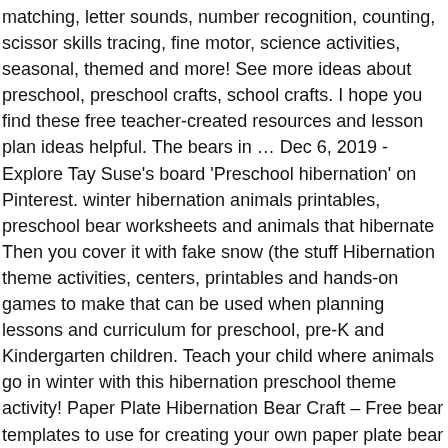matching, letter sounds, number recognition, counting, scissor skills tracing, fine motor, science activities, seasonal, themed and more! See more ideas about preschool, preschool crafts, school crafts. I hope you find these free teacher-created resources and lesson plan ideas helpful. The bears in … Dec 6, 2019 - Explore Tay Suse's board 'Preschool hibernation' on Pinterest. winter hibernation animals printables, preschool bear worksheets and animals that hibernate Then you cover it with fake snow (the stuff Hibernation theme activities, centers, printables and hands-on games to make that can be used when planning lessons and curriculum for preschool, pre-K and Kindergarten children. Teach your child where animals go in winter with this hibernation preschool theme activity! Paper Plate Hibernation Bear Craft – Free bear templates to use for creating your own paper plate bear cave. Click on a resource to read about Feb 18, 2017 - You'll Love These Winter Animals for Preschool Ideas, these winter animal printables are perfect for kids, teaching ideas, hands on learning, coloring pages Kids are naturally curious and